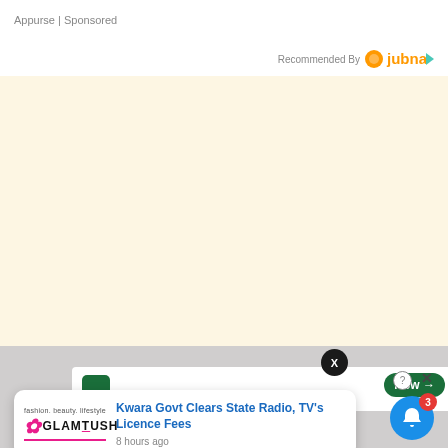Appurse | Sponsored
Recommended By Jubna
[Figure (infographic): Large cream/beige background advertisement area]
[Figure (screenshot): Mobile UI showing news notification card: Kwara Govt Clears State Radio, TV's Licence Fees - 8 hours ago, with GlamTush logo, and a Now button, notification bell with badge 3]
Kwara Govt Clears State Radio, TV's Licence Fees
8 hours ago